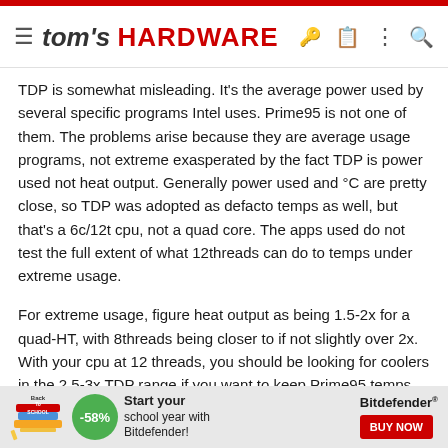tom's HARDWARE
TDP is somewhat misleading. It's the average power used by several specific programs Intel uses. Prime95 is not one of them. The problems arise because they are average usage programs, not extreme exasperated by the fact TDP is power used not heat output. Generally power used and °C are pretty close, so TDP was adopted as defacto temps as well, but that's a 6c/12t cpu, not a quad core. The apps used do not test the full extent of what 12threads can do to temps under extreme usage.
For extreme usage, figure heat output as being 1.5-2x for a quad-HT, with 8threads being closer to if not slightly over 2x. With your cpu at 12 threads, you should be looking for coolers in the 2.5-3x TDP range if you want to keep Prime95 temps under 70. The arctic freezer is a 140w cooler. That's inadequate for Prime95 testing or rendering or any other program that's going to tax all 12 threads to anywhere close to 100% usage. You'll need something closer to a Cryorig H5, beQuiet Darkrock 3/4, Noctua NH-D14 or other
[Figure (infographic): Back to School advertisement banner featuring Back to School logo, -58% discount circle in green, text 'Start your school year with Bitdefender!', Bitdefender brand logo, and a red BUY NOW button]